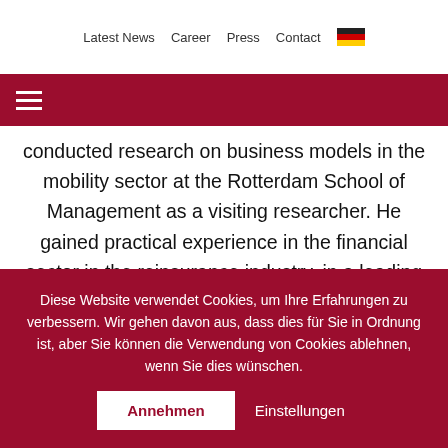Latest News   Career   Press   Contact
conducted research on business models in the mobility sector at the Rotterdam School of Management as a visiting researcher. He gained practical experience in the financial sector in the reinsurance industry, in a leading technology company in the robotics sector and in management consulting with a focus on renewable energies. At the core competence center FIM he started in
Diese Website verwendet Cookies, um Ihre Erfahrungen zu verbessern. Wir gehen davon aus, dass dies für Sie in Ordnung ist, aber Sie können die Verwendung von Cookies ablehnen, wenn Sie dies wünschen.   Annehmen   Einstellungen